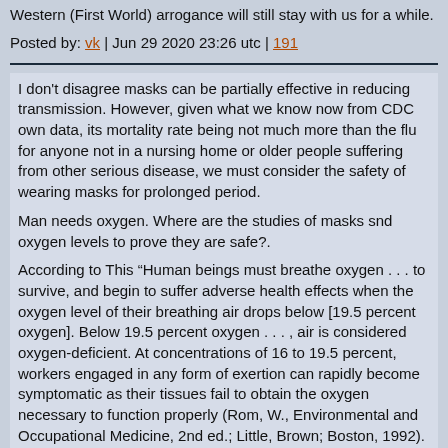Western (First World) arrogance will still stay with us for a while.
Posted by: vk | Jun 29 2020 23:26 utc | 191
I don't disagree masks can be partially effective in reducing transmission. However, given what we know now from CDC own data, its mortality rate being not much more than the flu for anyone not in a nursing home or older people suffering from other serious disease, we must consider the safety of wearing masks for prolonged period.
Man needs oxygen. Where are the studies of masks snd oxygen levels to prove they are safe?.
According to This “Human beings must breathe oxygen . . . to survive, and begin to suffer adverse health effects when the oxygen level of their breathing air drops below [19.5 percent oxygen]. Below 19.5 percent oxygen . . . , air is considered oxygen-deficient. At concentrations of 16 to 19.5 percent, workers engaged in any form of exertion can rapidly become symptomatic as their tissues fail to obtain the oxygen necessary to function properly (Rom, W., Environmental and Occupational Medicine, 2nd ed.; Little, Brown; Boston, 1992). “
I would be an objection and the same of the result with